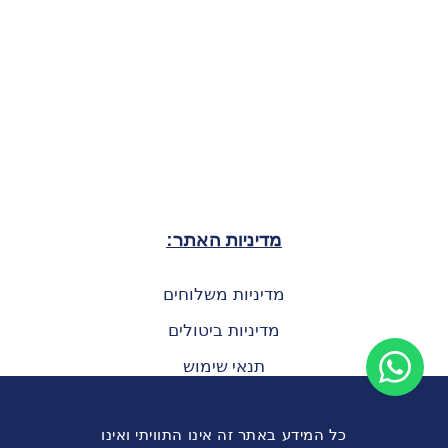מדיניות האתר:
מדיניות משלוחים
מדיניות ביטולים
תנאי שימוש
כל המידע באתר זה אינו התוויתי ואינו